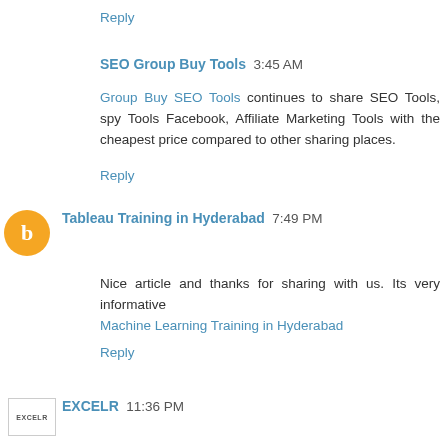Reply
SEO Group Buy Tools  3:45 AM
Group Buy SEO Tools continues to share SEO Tools, spy Tools Facebook, Affiliate Marketing Tools with the cheapest price compared to other sharing places.
Reply
Tableau Training in Hyderabad  7:49 PM
Nice article and thanks for sharing with us. Its very informative
Machine Learning Training in Hyderabad
Reply
EXCELR  11:36 PM